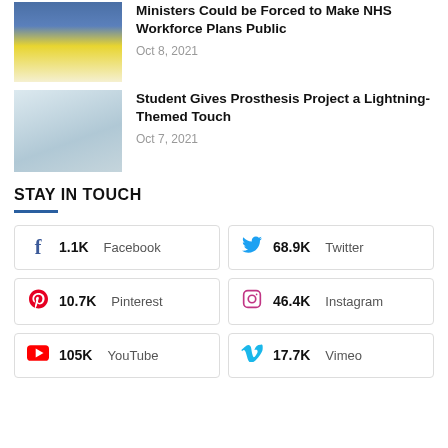[Figure (photo): Smartphone displaying an app screen with blue and yellow UI]
Ministers Could be Forced to Make NHS Workforce Plans Public
Oct 8, 2021
[Figure (photo): Person's hands working on a prosthetic arm device]
Student Gives Prosthesis Project a Lightning-Themed Touch
Oct 7, 2021
STAY IN TOUCH
1.1K Facebook
68.9K Twitter
10.7K Pinterest
46.4K Instagram
105K YouTube
17.7K Vimeo